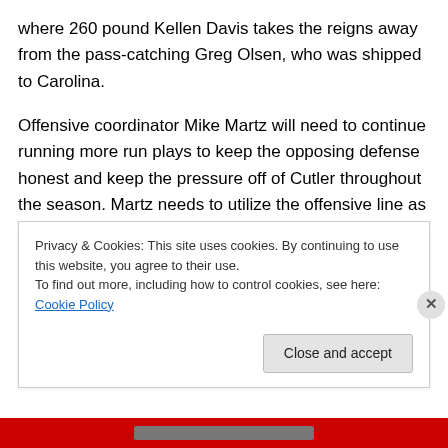where 260 pound Kellen Davis takes the reigns away from the pass-catching Greg Olsen, who was shipped to Carolina.
Offensive coordinator Mike Martz will need to continue running more run plays to keep the opposing defense honest and keep the pressure off of Cutler throughout the season. Martz needs to utilize the offensive line as the aggressors, because they sure don't have the lateral quickness to be dropping back and defending the quarterback.
Privacy & Cookies: This site uses cookies. By continuing to use this website, you agree to their use.
To find out more, including how to control cookies, see here: Cookie Policy